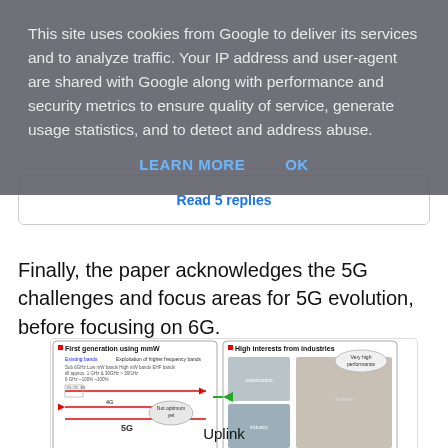This site uses cookies from Google to deliver its services and to analyze traffic. Your IP address and user-agent are shared with Google along with performance and security metrics to ensure quality of service, generate usage statistics, and to detect and address abuse.
LEARN MORE    OK
Read 5 replies
Finally, the paper acknowledges the 5G challenges and focus areas for 5G evolution, before focusing on 6G.
[Figure (infographic): Technical challenges on 5G real issues diagram showing: First generation using mmW section with frequency bands diagram (1G/2G/3G to 4G to 5G), High interests from industries section with photos of construction/industry scenes, Key technical issues section with three ellipses: mmW coverage/mobility improvement, Uplink performance enhancement, High requirements for industry use cases. Figure caption: Figure 2.1 Technical challenges on 5G real issues.]
Figure 2.1   Technical challenges on 5G real issues
Uplink